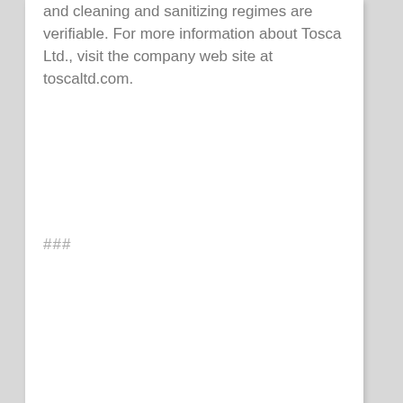and cleaning and sanitizing regimes are verifiable. For more information about Tosca Ltd., visit the company web site at toscaltd.com.
###
Besucher: 81
Veröffentlicht unter Curlies | Tags: Available, Information, Spinach, Website |
« SdL – Die romantischsten Momente: Hochzeitsnacht
Pet Grooming Course »